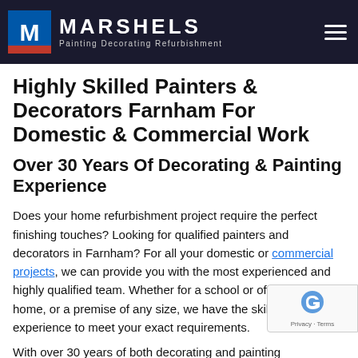MARSHELS Painting Decorating Refurbishment
Highly Skilled Painters & Decorators Farnham For Domestic & Commercial Work
Over 30 Years Of Decorating & Painting Experience
Does your home refurbishment project require the perfect finishing touches? Looking for qualified painters and decorators in Farnham? For all your domestic or commercial projects, we can provide you with the most experienced and highly qualified team. Whether for a school or office, your own home, or a premise of any size, we have the skills and experience to meet your exact requirements.
With over 30 years of both decorating and painting